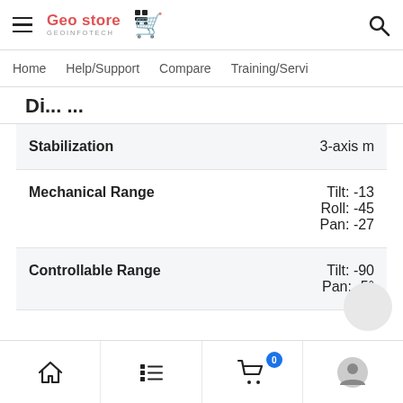Geo store GEOINFOTECH
Home  Help/Support  Compare  Training/Servi
Di... ...
| Property | Value |
| --- | --- |
| Stabilization | 3-axis m |
| Mechanical Range | Tilt: -13
Roll: -45
Pan: -27 |
| Controllable Range | Tilt: -90
Pan: -5° |
Home | List | Cart (0) | Profile